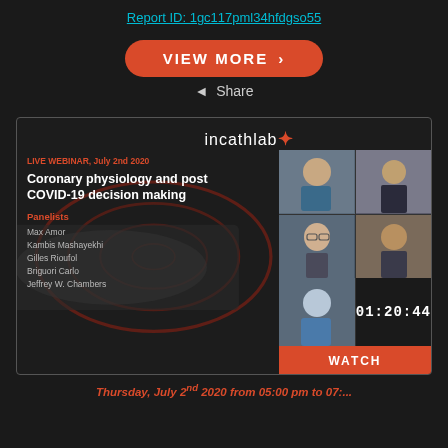Report ID: 1gc117pml34hfdgso55
VIEW MORE >
Share
[Figure (screenshot): Webinar card for incathlab live webinar on 'Coronary physiology and post COVID-19 decision making', July 2nd 2020, with panelists Max Amor, Kambis Mashayekhi, Gilles Rioufol, Briguori Carlo, Jeffrey W. Chambers. Shows video grid of participants and timer 01:20:44 with WATCH button.]
Thursday, July 2nd 2020 from 05:00 pm to 07:...